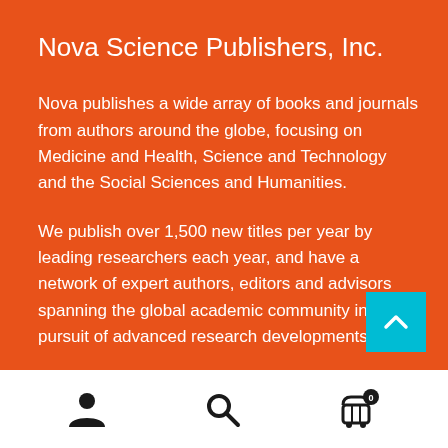Nova Science Publishers, Inc.
Nova publishes a wide array of books and journals from authors around the globe, focusing on Medicine and Health, Science and Technology and the Social Sciences and Humanities.
We publish over 1,500 new titles per year by leading researchers each year, and have a network of expert authors, editors and advisors spanning the global academic community in pursuit of advanced research developments.
[Figure (infographic): White navigation bar with three icons: person/user icon on the left, magnifying glass/search icon in the center, and shopping cart with badge showing 0 on the right]